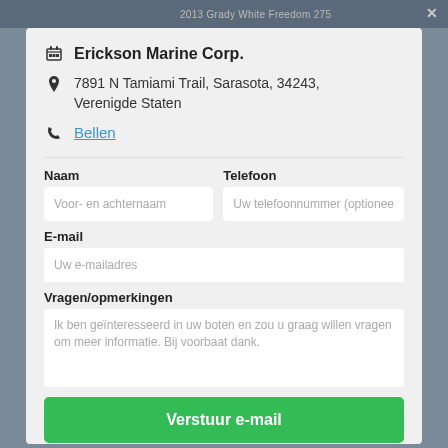2013 Grady White Freedom 275
Erickson Marine Corp.
7891 N Tamiami Trail, Sarasota, 34243, Verenigde Staten
Bellen
Naam
Voor- en achternaam
Telefoon
Uw telefoonnummer (optionee
E-mail
Uw e-mailadres
Vragen/opmerkingen
Ik ben geïnteresseerd in uw boten en zou u graag willen vragen om meer informatie. Bij voorbaat dank.
Verstuur e-mail